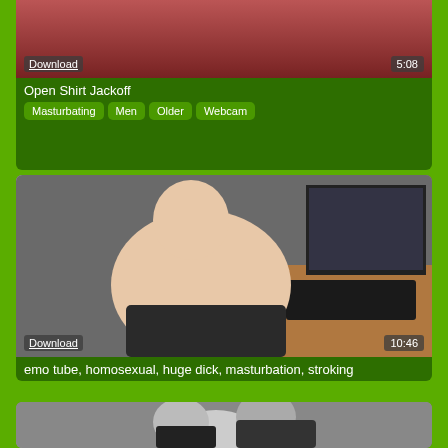[Figure (photo): Partial video thumbnail at top, reddish/dark tones. Shows Download link overlay bottom-left and duration 5:08 bottom-right.]
Open Shirt Jackoff
Masturbating  Men  Older  Webcam
[Figure (photo): Video thumbnail showing a heavyset man sitting at a computer desk. Download link overlay bottom-left, duration 10:46 bottom-right.]
emo tube, homosexual, huge dick, masturbation, stroking
[Figure (photo): Partial bottom video thumbnail showing two figures close together, one in dark clothing.]